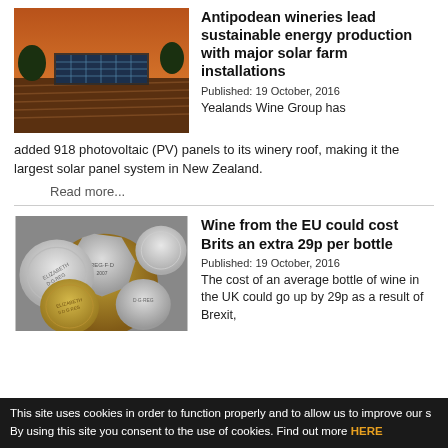[Figure (photo): Aerial view of a winery with solar panels on the roof surrounded by vineyard rows at sunset]
Antipodean wineries lead sustainable energy production with major solar farm installations
Published:  19 October, 2016
Yealands Wine Group has added 918 photovoltaic (PV) panels to its winery roof, making it the largest solar panel system in New Zealand.
Read more...
[Figure (photo): Close-up of British coins including pound coins and other denominations scattered together]
Wine from the EU could cost Brits an extra 29p per bottle
Published:  19 October, 2016
The cost of an average bottle of wine in the UK could go up by 29p as a result of Brexit,
This site uses cookies in order to function properly and to allow us to improve our s By using this site you consent to the use of cookies. Find out more HERE